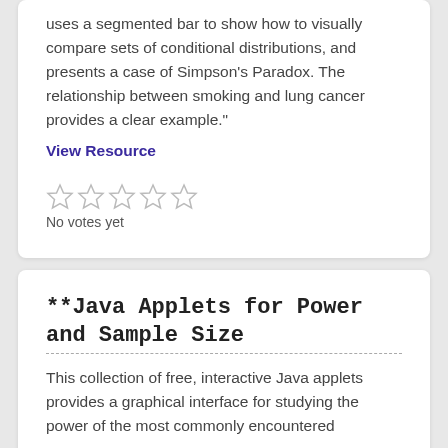uses a segmented bar to show how to visually compare sets of conditional distributions, and presents a case of Simpson's Paradox. The relationship between smoking and lung cancer provides a clear example."
View Resource
No votes yet
**Java Applets for Power and Sample Size
This collection of free, interactive Java applets provides a graphical interface for studying the power of the most commonly encountered